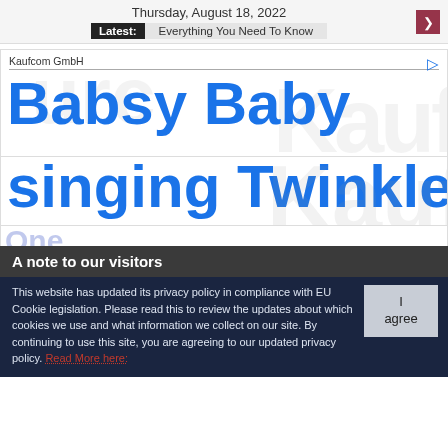Thursday, August 18, 2022
Latest: Everything You Need To Know
Kaufcom GmbH
Babsy Baby singing Twinkle
A note to our visitors
This website has updated its privacy policy in compliance with EU Cookie legislation. Please read this to review the updates about which cookies we use and what information we collect on our site. By continuing to use this site, you are agreeing to our updated privacy policy. Read More here: